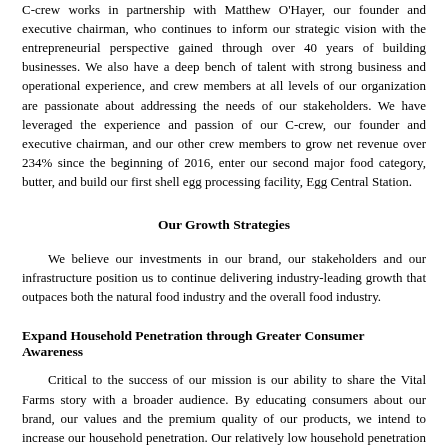C-crew works in partnership with Matthew O'Hayer, our founder and executive chairman, who continues to inform our strategic vision with the entrepreneurial perspective gained through over 40 years of building businesses. We also have a deep bench of talent with strong business and operational experience, and crew members at all levels of our organization are passionate about addressing the needs of our stakeholders. We have leveraged the experience and passion of our C-crew, our founder and executive chairman, and our other crew members to grow net revenue over 234% since the beginning of 2016, enter our second major food category, butter, and build our first shell egg processing facility, Egg Central Station.
Our Growth Strategies
We believe our investments in our brand, our stakeholders and our infrastructure position us to continue delivering industry-leading growth that outpaces both the natural food industry and the overall food industry.
Expand Household Penetration through Greater Consumer Awareness
Critical to the success of our mission is our ability to share the Vital Farms story with a broader audience. By educating consumers about our brand, our values and the premium quality of our products, we intend to increase our household penetration. Our relatively low household penetration of 3.9% for our pasture-raised shell eggs, compared to the shell egg category penetration of approximately 98%, shows that expanding the national presence of our brand offers a significant runway for future growth.
We are well positioned to increase household penetration of our products